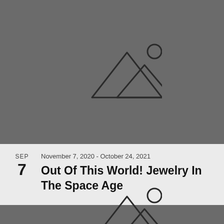[Figure (illustration): Image placeholder icon — two mountain triangles with a circle (sun), outlined in dark on grey background, top half of page]
November 7, 2020 - October 24, 2021
Out Of This World! Jewelry In The Space Age
[Figure (illustration): Image placeholder icon — two mountain triangles with a circle (sun), outlined in dark on grey background, bottom of page (partially cropped)]